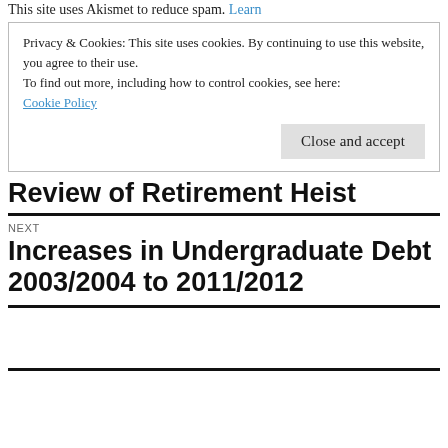This site uses Akismet to reduce spam. Learn
Privacy & Cookies: This site uses cookies. By continuing to use this website, you agree to their use.
To find out more, including how to control cookies, see here:
Cookie Policy
Close and accept
Review of Retirement Heist
NEXT
Increases in Undergraduate Debt 2003/2004 to 2011/2012